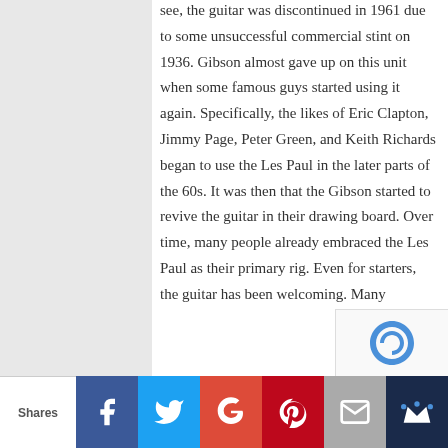see, the guitar was discontinued in 1961 due to some unsuccessful commercial stint on 1936. Gibson almost gave up on this unit when some famous guys started using it again. Specifically, the likes of Eric Clapton, Jimmy Page, Peter Green, and Keith Richards began to use the Les Paul in the later parts of the 60s. It was then that the Gibson started to revive the guitar in their drawing board. Over time, many people already embraced the Les Paul as their primary rig. Even for starters, the guitar has been welcoming. Many
Shares | Facebook | Twitter | Google+ | Pinterest | Email | Crown